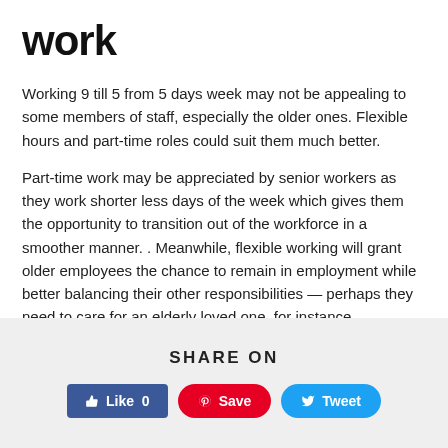work
Working 9 till 5 from 5 days week may not be appealing to some members of staff, especially the older ones. Flexible hours and part-time roles could suit them much better.
Part-time work may be appreciated by senior workers as they work shorter less days of the week which gives them the opportunity to transition out of the workforce in a smoother manner. . Meanwhile, flexible working will grant older employees the chance to remain in employment while better balancing their other responsibilities — perhaps they need to care for an elderly loved one, for instance.
SHARE ON
[Figure (other): Social share buttons: Like 0 (Facebook), Save (Pinterest), Tweet (Twitter)]